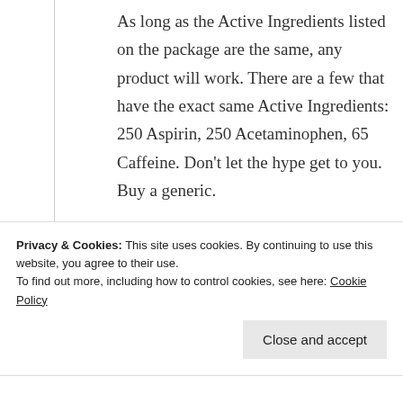As long as the Active Ingredients listed on the package are the same, any product will work. There are a few that have the exact same Active Ingredients: 250 Aspirin, 250 Acetaminophen, 65 Caffeine. Don't let the hype get to you. Buy a generic.
★ Like
↪ Reply
Privacy & Cookies: This site uses cookies. By continuing to use this website, you agree to their use. To find out more, including how to control cookies, see here: Cookie Policy